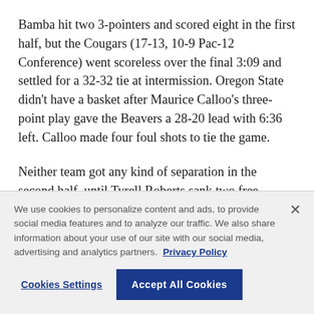Bamba hit two 3-pointers and scored eight in the first half, but the Cougars (17-13, 10-9 Pac-12 Conference) went scoreless over the final 3:09 and settled for a 32-32 tie at intermission. Oregon State didn't have a basket after Maurice Calloo's three-point play gave the Beavers a 28-20 lead with 6:36 left. Calloo made four foul shots to tie the game.
Neither team got any kind of separation in the second half, until Tyrell Roberts sank two free throws and Bamba followed with a 3-pointer to give the Cougars a
We use cookies to personalize content and ads, to provide social media features and to analyze our traffic. We also share information about your use of our site with our social media, advertising and analytics partners.  Privacy Policy
Cookies Settings
Accept All Cookies